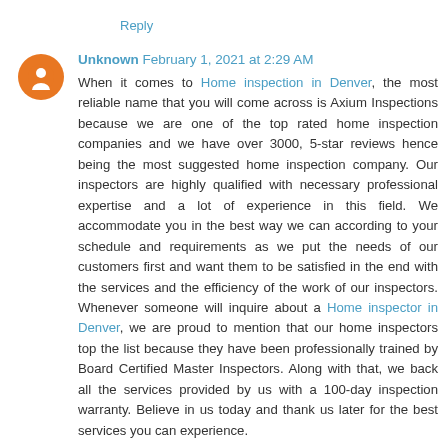Reply
Unknown February 1, 2021 at 2:29 AM
When it comes to Home inspection in Denver, the most reliable name that you will come across is Axium Inspections because we are one of the top rated home inspection companies and we have over 3000, 5-star reviews hence being the most suggested home inspection company. Our inspectors are highly qualified with necessary professional expertise and a lot of experience in this field. We accommodate you in the best way we can according to your schedule and requirements as we put the needs of our customers first and want them to be satisfied in the end with the services and the efficiency of the work of our inspectors. Whenever someone will inquire about a Home inspector in Denver, we are proud to mention that our home inspectors top the list because they have been professionally trained by Board Certified Master Inspectors. Along with that, we back all the services provided by us with a 100-day inspection warranty. Believe in us today and thank us later for the best services you can experience.